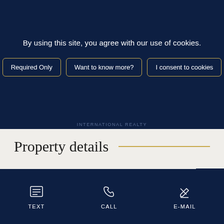By using this site, you agree with our use of cookies.
Required Only | Want to know more? | I consent to cookies
INTERNATIONAL REALTY
[Figure (screenshot): Large empty light-colored area representing a property image placeholder]
Property details
TEXT | CALL | E-MAIL